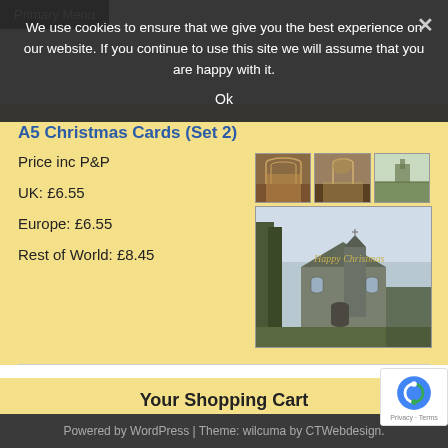Primary Menu
We use cookies to ensure that we give you the best experience on our website. If you continue to use this site we will assume that you are happy with it. Ok
A5 Christmas Cards (Set 2)
Price inc P&P
UK: £6.55
Europe: £6.55
Rest of World: £8.45
[Figure (photo): Product images showing A5 Christmas cards with church interior and exterior photographs]
Your Shopping Cart
Your cart is empty
Visit The Shop
Powered by WordPress | Theme: wilcuma by CTWebdesign.